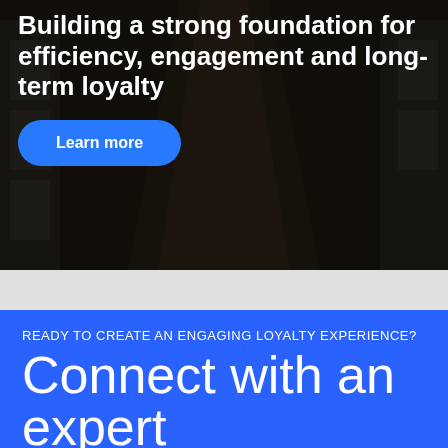[Figure (photo): Dark office/hallway background image with overlay, containing bold white headline text and a blue 'Learn more' button]
Building a strong foundation for efficiency, engagement and long-term loyalty
Learn more
READY TO CREATE AN ENGAGING LOYALTY EXPERIENCE?
Connect with an expert